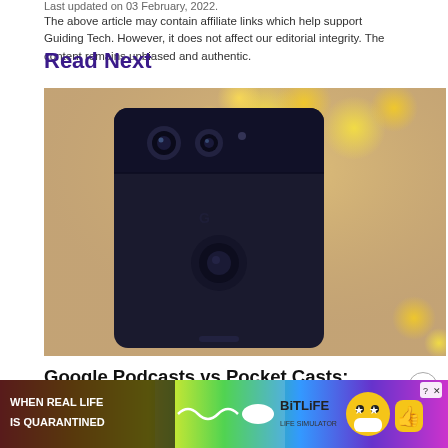Last updated on 03 February, 2022.
The above article may contain affiliate links which help support Guiding Tech. However, it does not affect our editorial integrity. The content remains unbiased and authentic.
Read Next
[Figure (photo): Back of a dark-colored Google Pixel 2 smartphone against a beige/tan wall with yellow bokeh lights in the background]
Google Podcasts vs Pocket Casts: Which Is a Better Podcast...
Well, I admit that I am late to the podcasts scene. I recently...ogle Assist...
[Figure (infographic): Advertisement banner: 'WHEN REAL LIFE IS QUARANTINED' featuring BitLife game logo with emoji characters, rainbow background, with close button]